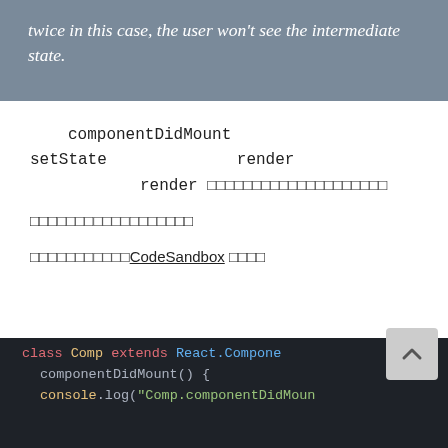twice in this case, the user won't see the intermediate state.
componentDidMount setState render render □□□□□□□□□□□□□□□□□□□□
□□□□□□□□□□□□□□□□□□
□□□□□□□□□□□CodeSandbox □□□□
[Figure (screenshot): Code editor screenshot showing: class Comp extends React.Component { componentDidMount() { console.log('Comp.componentDidMoun...]